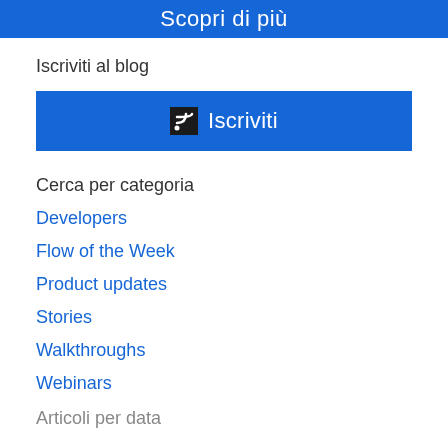Scopri di più
Iscriviti al blog
[Figure (other): Blue button with RSS icon and text 'Iscriviti']
Cerca per categoria
Developers
Flow of the Week
Product updates
Stories
Walkthroughs
Webinars
Articoli per data